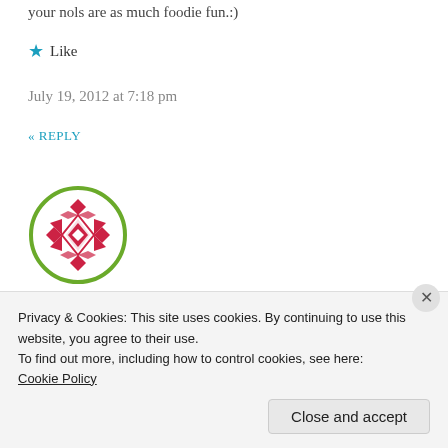your nols are as much foodie fun.:)
★ Like
July 19, 2012 at 7:18 pm
« REPLY
[Figure (illustration): Circular avatar with a red and white geometric/diamond pattern design on a white background, inside a green circle border]
bakeawaywithme.com says:
I would have gone for the falafel burger with hummus, too! One of my favorite fast foods!!
Privacy & Cookies: This site uses cookies. By continuing to use this website, you agree to their use.
To find out more, including how to control cookies, see here:
Cookie Policy
Close and accept